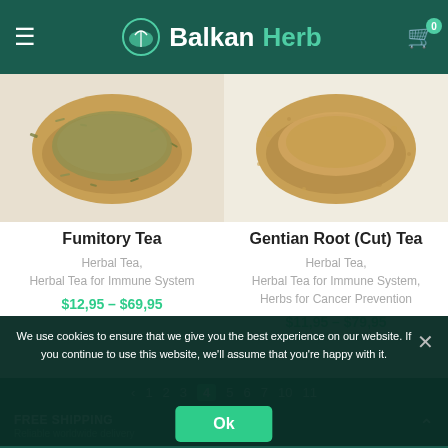BalkanHerb
[Figure (photo): Wooden bowl with dried fumitory herb tea leaves scattered on white surface]
[Figure (photo): Wooden bowl with dried gentian root cut tea powder scattered on white surface]
Fumitory Tea
Herbal Tea, Herbal Tea for Immune System
$12,95 – $69,95
Gentian Root (Cut) Tea
Herbal Tea, Herbal Tea for Immune System, Herbs for Cancer Prevention
$11,95 – $79,95
We use cookies to ensure that we give you the best experience on our website. If you continue to use this website, we'll assume that you're happy with it.
Ok
FREE SHIPPING
Reliable worldwide delivery